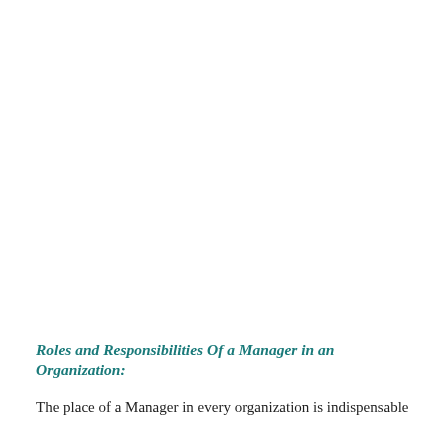Roles and Responsibilities Of a Manager in an Organization:
The place of a Manager in every organization is indispensable